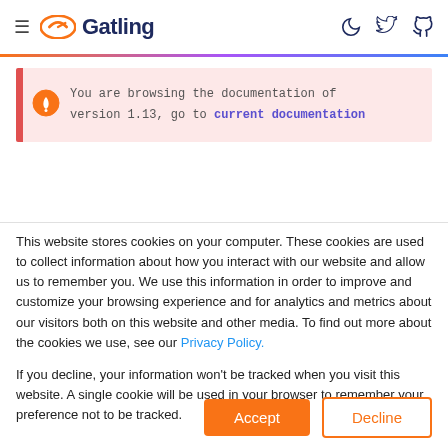Gatling
You are browsing the documentation of version 1.13, go to current documentation
This website stores cookies on your computer. These cookies are used to collect information about how you interact with our website and allow us to remember you. We use this information in order to improve and customize your browsing experience and for analytics and metrics about our visitors both on this website and other media. To find out more about the cookies we use, see our Privacy Policy.
If you decline, your information won't be tracked when you visit this website. A single cookie will be used in your browser to remember your preference not to be tracked.